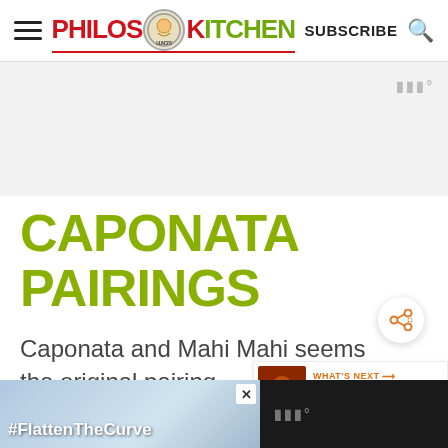Philos Kitchen — SUBSCRIBE — Search
CAPONATA PAIRINGS
Caponata and Mahi Mahi seems the original pairing.
[Figure (screenshot): What's Next promo thumbnail with orange label and text: HOMEMADE SUN-DRIED...]
[Figure (screenshot): Ad banner at bottom with #FlattenTheCurve hashtag over image of hands washing, with close button and mmm logo]